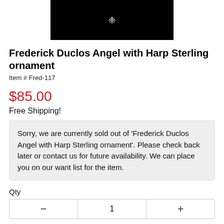[Figure (photo): Black background product photo of a small sterling silver angel ornament, centered in a dark rectangular image]
Frederick Duclos Angel with Harp Sterling ornament
Item # Fred-117
$85.00
Free Shipping!
Sorry, we are currently sold out of 'Frederick Duclos Angel with Harp Sterling ornament'. Please check back later or contact us for future availability. We can place you on our want list for the item.
Qty
| - | 1 | + |
| --- | --- | --- |